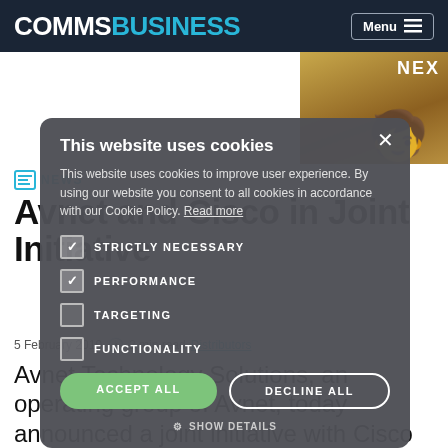COMMSBUSINESS — Menu
[Figure (screenshot): Cookie consent overlay dialog on CommsBusiness website showing cookie options: Strictly Necessary (checked), Performance (checked), Targeting (unchecked), Functionality (unchecked), with Accept All and Decline All buttons]
NEWS
Avnet and Cisco in Joint Initiative
5 February 2019  2 min read  Distributors
Avnet Technology Solutions, an operating group of Avnet, today announced a joint initiative with Cisco